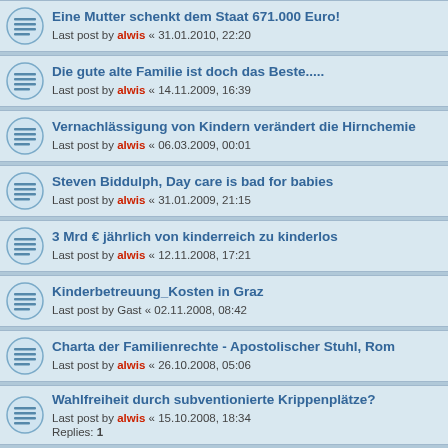Eine Mutter schenkt dem Staat 671.000 Euro! — Last post by alwis « 31.01.2010, 22:20
Die gute alte Familie ist doch das Beste..... — Last post by alwis « 14.11.2009, 16:39
Vernachlässigung von Kindern verändert die Hirnchemie — Last post by alwis « 06.03.2009, 00:01
Steven Biddulph, Day care is bad for babies — Last post by alwis « 31.01.2009, 21:15
3 Mrd € jährlich von kinderreich zu kinderlos — Last post by alwis « 12.11.2008, 17:21
Kinderbetreuung_Kosten in Graz — Last post by Gast « 02.11.2008, 08:42
Charta der Familienrechte - Apostolischer Stuhl, Rom — Last post by alwis « 26.10.2008, 05:06
Wahlfreiheit durch subventionierte Krippenplätze? — Last post by alwis « 15.10.2008, 18:34 — Replies: 1
Kinder zufrieden mit den Eltern, wenn.... — Last post by alwis « 14.10.2008, 21:53
Bill Clinton: learning begins in the first days of life — Last post by alwis « 28.09.2008, 14:58
Durchbruch in der Hirnforschung – die amerikanische…